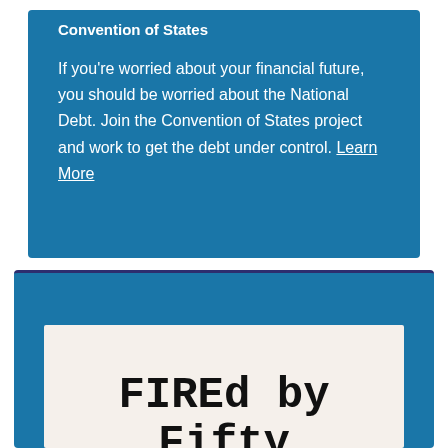Convention of States
If you're worried about your financial future, you should be worried about the National Debt. Join the Convention of States project and work to get the debt under control. Learn More
[Figure (illustration): Blue promotional box for a book titled 'FIREd by Fifty' shown as a book cover with serif monospace title text on a cream/off-white background, within a blue framed container with dark navy top border.]